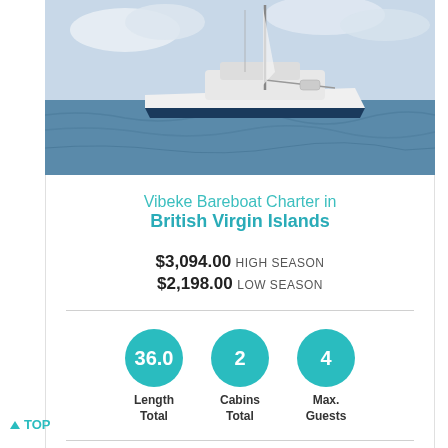[Figure (photo): Photograph of a white sailing yacht (monohull) on blue water with cloudy sky background]
Vibeke Bareboat Charter in British Virgin Islands
$3,094.00 HIGH SEASON
$2,198.00 LOW SEASON
36.0 Length Total | 2 Cabins Total | 4 Max. Guests
Yacht Type: Sailing Monohulls
Yacht Age: 2009
▲ TOP